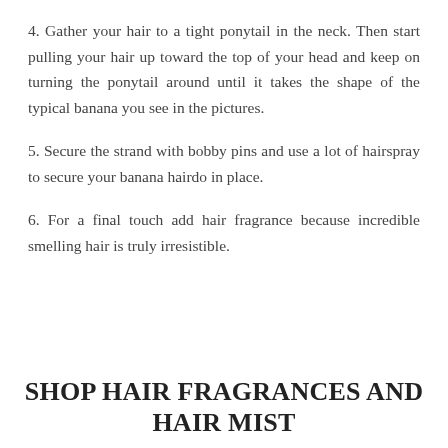4. Gather your hair to a tight ponytail in the neck. Then start pulling your hair up toward the top of your head and keep on turning the ponytail around until it takes the shape of the typical banana you see in the pictures.
5. Secure the strand with bobby pins and use a lot of hairspray to secure your banana hairdo in place.
6. For a final touch add hair fragrance because incredible smelling hair is truly irresistible.
SHOP HAIR FRAGRANCES AND HAIR MIST